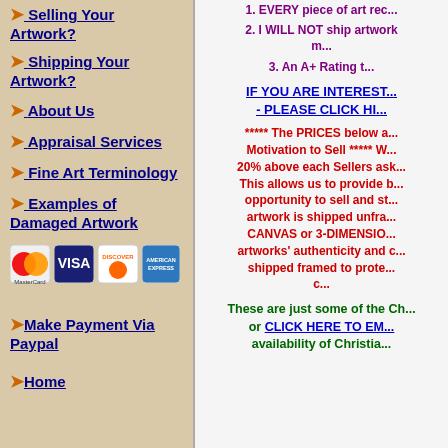➤ Selling Your Artwork?
➤ Shipping Your Artwork?
➤ About Us
➤ Appraisal Services
➤ Fine Art Terminology
➤ Examples of Damaged Artwork
[Figure (other): Credit card payment logos: MasterCard, Visa, Discover, Amex]
➤Make Payment Via Paypal
➤Home
1. EVERY piece of art rec...
2. I WILL NOT ship artwork m...
3. An A+ Rating t...
IF YOU ARE INTEREST... - PLEASE CLICK HI...
***** The PRICES below a... Motivation to Sell ***** W... 20% above each Sellers ask... This allows us to provide b... opportunity to sell and st... artwork is shipped unfra... CANVAS or 3-DIMENSIO... artworks' authenticity and c... shipped framed to prote... c...
These are just some of the Ch... or CLICK HERE TO EM... availability of Christia...